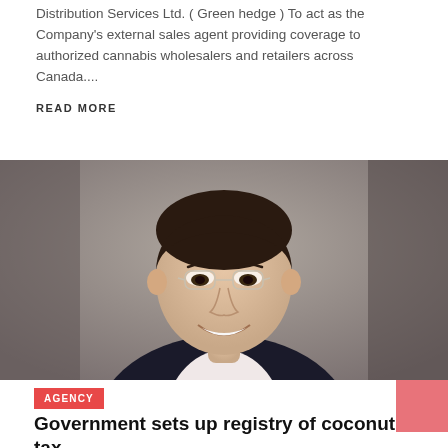Distribution Services Ltd. ( Green hedge ) To act as the Company's external sales agent providing coverage to authorized cannabis wholesalers and retailers across Canada....
READ MORE
[Figure (photo): Professional headshot of a middle-aged Asian man wearing glasses, smiling, in a dark blazer and light pink shirt, against a grey studio background.]
AGENCY
Government sets up registry of coconut tax